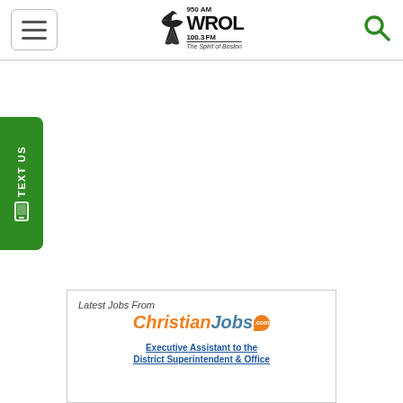950 AM WROL 100.3 FM The Spirit of Boston
[Figure (logo): Green TEXT US sidebar button with phone icon on left edge of page]
[Figure (infographic): Latest Jobs From ChristianJobs.com advertisement box with job listing: Executive Assistant to the District Superintendent & Office]